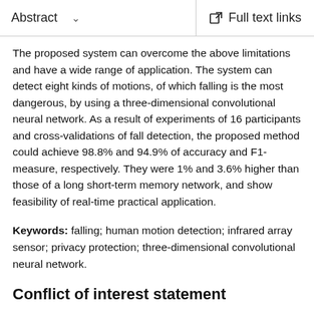Abstract   ∨   Full text links
The proposed system can overcome the above limitations and have a wide range of application. The system can detect eight kinds of motions, of which falling is the most dangerous, by using a three-dimensional convolutional neural network. As a result of experiments of 16 participants and cross-validations of fall detection, the proposed method could achieve 98.8% and 94.9% of accuracy and F1-measure, respectively. They were 1% and 3.6% higher than those of a long short-term memory network, and show feasibility of real-time practical application.
Keywords: falling; human motion detection; infrared array sensor; privacy protection; three-dimensional convolutional neural network.
Conflict of interest statement